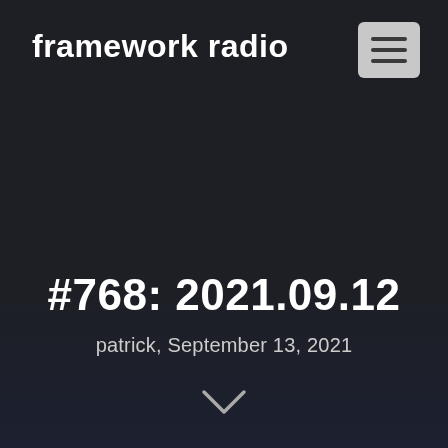framework radio
#768: 2021.09.12
patrick, September 13, 2021